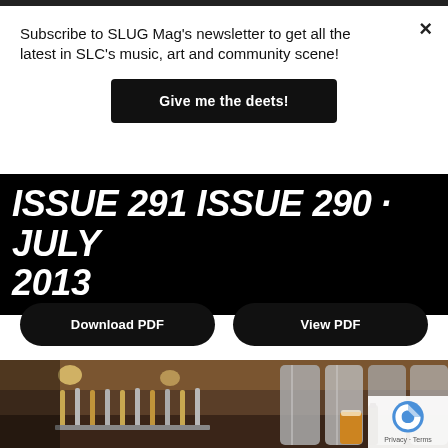Subscribe to SLUG Mag's newsletter to get all the latest in SLC's music, art and community scene!
Give me the deets!
ISSUE 291 ISSUE 290 · JULY 2013
Download PDF
View PDF
[Figure (photo): Interior of a brewery bar with rows of tap handles in the foreground, large silver fermentation tanks in the background, wooden ceiling and bar, with glasses of beer visible.]